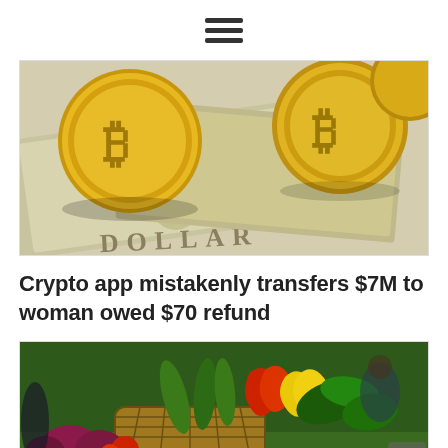☰ (hamburger menu icon)
[Figure (photo): Close-up photo of gold Bitcoin coins resting on US dollar bills, showing the word DOLLAR on the bills and the Bitcoin symbol on the coins.]
Crypto app mistakenly transfers $7M to woman owed $70 refund
[Figure (photo): Photo of a wicker basket filled with colorful fresh vegetables including cucumbers, red chili peppers, yellow peppers, red onions, and other produce at what appears to be a market.]